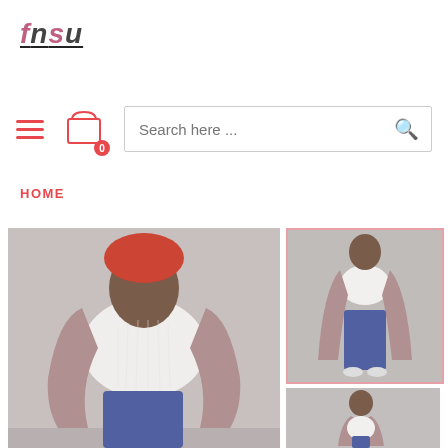[Figure (logo): fnsu brand logo in stylized italic text with pink and dark grey alternating letters, underlined]
[Figure (infographic): Navigation bar with hamburger menu icon (red/pink lines), shopping bag icon with 0 badge, and search bar with magnifying glass icon]
HOME
[Figure (photo): Main product photo: close-up of a woman wearing a white ribbed crop top and mauve/taupe open-front long cardigan with jeans]
[Figure (photo): Thumbnail 1 (selected, pink border): full-length view of woman in white crop top, mauve cardigan, and jeans]
[Figure (photo): Thumbnail 2: side view of woman in mauve cardigan]